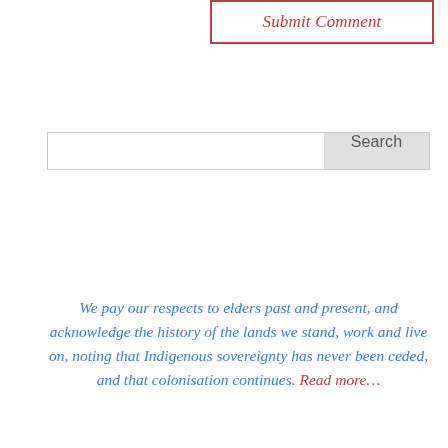Submit Comment
Search
We pay our respects to elders past and present, and acknowledge the history of the lands we stand, work and live on, noting that Indigenous sovereignty has never been ceded, and that colonisation continues. Read more…